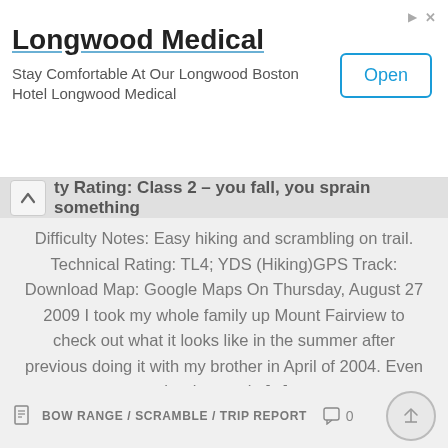[Figure (screenshot): Advertisement banner for Longwood Medical hotel with title, description, and Open button]
Longwood Medical
Stay Comfortable At Our Longwood Boston Hotel Longwood Medical
ty Rating: Class 2 – you fall, you sprain something
Difficulty Notes: Easy hiking and scrambling on trail. Technical Rating: TL4; YDS (Hiking)GPS Track: Download Map: Google Maps On Thursday, August 27 2009 I took my whole family up Mount Fairview to check out what it looks like in the summer after previous doing it with my brother in April of 2004. Even the dog made [...]
Fine. Give me more of this drivel.
BOW RANGE / SCRAMBLE / TRIP REPORT  0